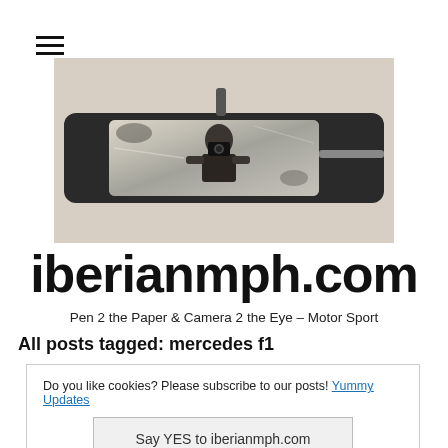[Figure (logo): Hamburger menu icon with three horizontal lines]
[Figure (photo): Black and white photograph of a person holding a camera, reflected in a car rear-view mirror]
iberianmph.com
Pen 2 the Paper & Camera 2 the Eye – Motor Sport
All posts tagged: mercedes f1
Do you like cookies? Please subscribe to our posts! Yummy Updates
Say YES to iberianmph.com TODAY!